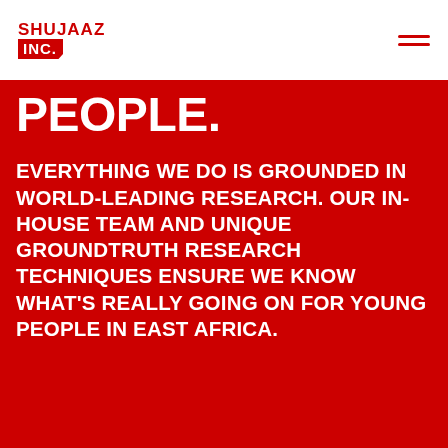SHUJAAZ INC.
PEOPLE.
EVERYTHING WE DO IS GROUNDED IN WORLD-LEADING RESEARCH. OUR IN-HOUSE TEAM AND UNIQUE GROUNDTRUTH RESEARCH TECHNIQUES ENSURE WE KNOW WHAT'S REALLY GOING ON FOR YOUNG PEOPLE IN EAST AFRICA.